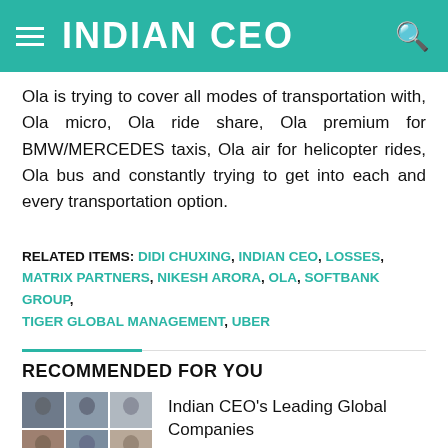INDIAN CEO
Ola is trying to cover all modes of transportation with, Ola micro, Ola ride share, Ola premium for BMW/MERCEDES taxis, Ola air for helicopter rides, Ola bus and constantly trying to get into each and every transportation option.
RELATED ITEMS: DIDI CHUXING, INDIAN CEO, LOSSES, MATRIX PARTNERS, NIKESH ARORA, OLA, SOFTBANK GROUP, TIGER GLOBAL MANAGEMENT, UBER
RECOMMENDED FOR YOU
[Figure (photo): Mosaic grid of portrait photos of Indian CEOs leading global companies]
Indian CEO's Leading Global Companies